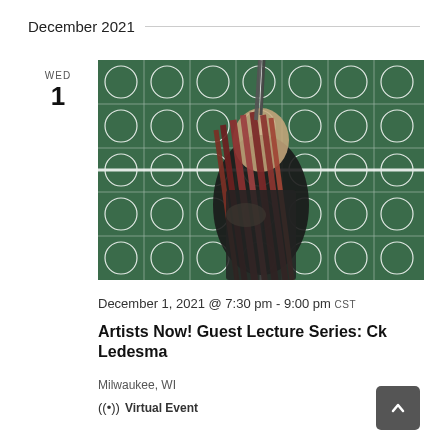December 2021
WED
1
[Figure (photo): A person holding a large bundle of bamboo or similar pipes in front of a decorative metal gate with a geometric circle-and-square pattern. The person is wearing a dark t-shirt and the gate/background has a dark green tint.]
December 1, 2021 @ 7:30 pm - 9:00 pm CST
Artists Now! Guest Lecture Series: Ck Ledesma
Milwaukee, WI
((•)) Virtual Event